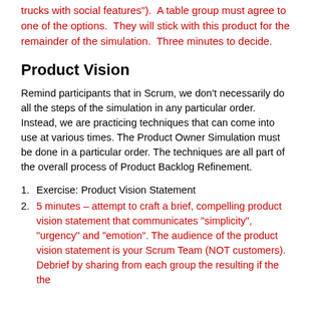trucks with social features").  A table group must agree to one of the options.  They will stick with this product for the remainder of the simulation.  Three minutes to decide.
Product Vision
Remind participants that in Scrum, we don’t necessarily do all the steps of the simulation in any particular order. Instead, we are practicing techniques that can come into use at various times. The Product Owner Simulation must be done in a particular order. The techniques are all part of the overall process of Product Backlog Refinement.
Exercise: Product Vision Statement
5 minutes – attempt to craft a brief, compelling product vision statement that communicates “simplicity”, “urgency” and “emotion”. The audience of the product vision statement is your Scrum Team (NOT customers).  Debrief by sharing from each group the resulting if the the